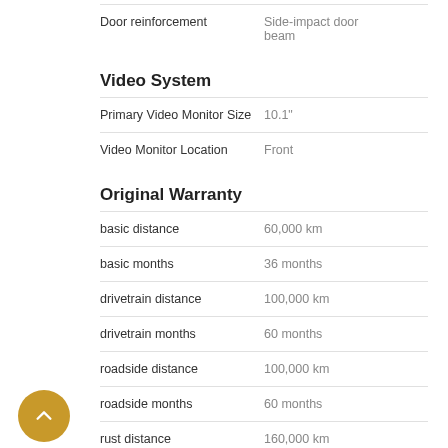| Feature | Value |
| --- | --- |
| Door reinforcement | Side-impact door beam |
Video System
| Feature | Value |
| --- | --- |
| Primary Video Monitor Size | 10.1" |
| Video Monitor Location | Front |
Original Warranty
| Feature | Value |
| --- | --- |
| basic distance | 60,000 km |
| basic months | 36 months |
| drivetrain distance | 100,000 km |
| drivetrain months | 60 months |
| roadside distance | 100,000 km |
| roadside months | 60 months |
| rust distance | 160,000 km |
| rust months | 60 months |
Weights and Capacities